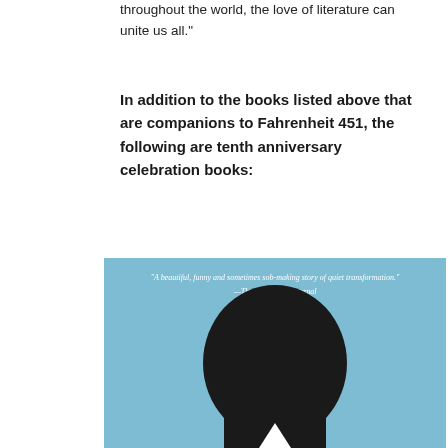throughout the world, the love of literature can unite us all.”
In addition to the books listed above that are companions to Fahrenheit 451, the following are tenth anniversary celebration books:
[Figure (illustration): Book cover with light blue background. At the top is a quote in white italic text: “A beautiful, funny and sometimes sob-making story of quiet transformation.” —The Wall Street Journal. Below the quote is a large black silhouette of a person's head and shoulders.]